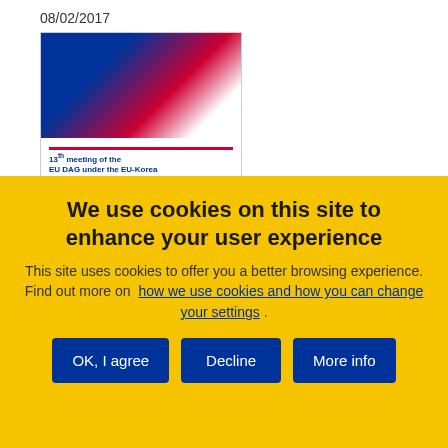08/02/2017
[Figure (illustration): Document cover thumbnail showing EU and South Korea flags with text: 13th meeting of the EU DAG under the EU-Korea Free Trade Agreement]
Labour Provisions in Trade
We use cookies on this site to enhance your user experience
This site uses cookies to offer you a better browsing experience. Find out more on how we use cookies and how you can change your settings .
OK, I agree
Decline
More info